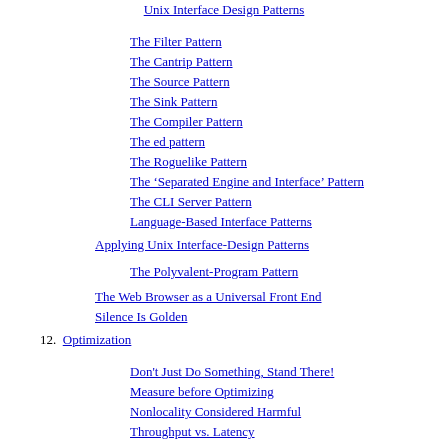Unix Interface Design Patterns
The Filter Pattern
The Cantrip Pattern
The Source Pattern
The Sink Pattern
The Compiler Pattern
The ed pattern
The Roguelike Pattern
The ‘Separated Engine and Interface’ Pattern
The CLI Server Pattern
Language-Based Interface Patterns
Applying Unix Interface-Design Patterns
The Polyvalent-Program Pattern
The Web Browser as a Universal Front End
Silence Is Golden
12. Optimization
Don't Just Do Something, Stand There!
Measure before Optimizing
Nonlocality Considered Harmful
Throughput vs. Latency